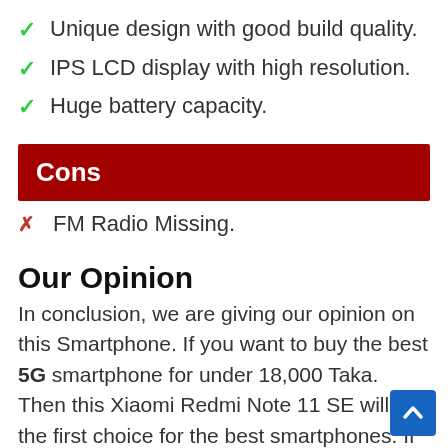✓ Unique design with good build quality.
✓ IPS LCD display with high resolution.
✓ Huge battery capacity.
Cons
✗ FM Radio Missing.
Our Opinion
In conclusion, we are giving our opinion on this Smartphone. If you want to buy the best 5G smartphone for under 18,000 Taka. Then this Xiaomi Redmi Note 11 SE will be the first choice for the best smartphones. If you want to buy this smartphone for Photography & playing games like Free Fire and PUBG, then you can obviously buy this